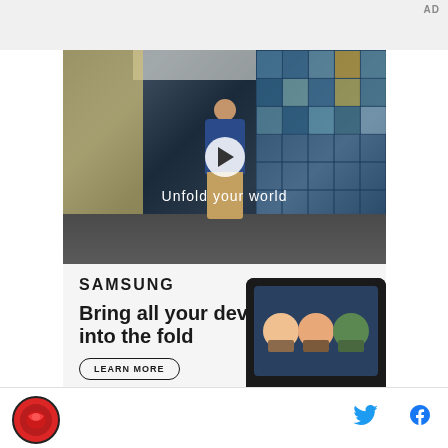AD
[Figure (screenshot): Video player thumbnail showing a teenage boy in a blue jacket walking in a school cafeteria setting with a glass grid wall behind him. Text overlay reads 'Unfold your world'. A white play button circle is centered on the image.]
[Figure (advertisement): Samsung advertisement with logo, headline 'Bring all your devices into the fold', a 'LEARN MORE' button, and a device image showing a video call screen with three people along with Samsung hardware devices.]
Social share icons: Twitter and Facebook